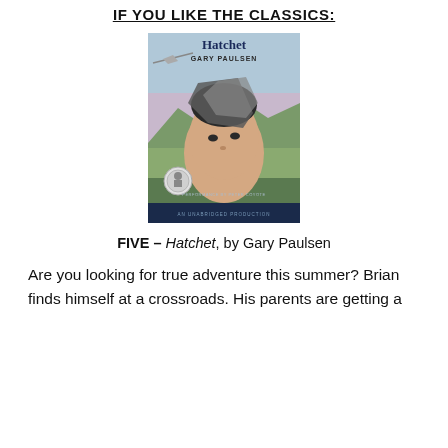IF YOU LIKE THE CLASSICS:
[Figure (photo): Book cover of Hatchet by Gary Paulsen — audiobook edition with performance by Peter Coyote, an unabridged production. Cover shows a boy's face with a hatchet overlaid, mountains and sky in background.]
FIVE – Hatchet, by Gary Paulsen
Are you looking for true adventure this summer? Brian finds himself at a crossroads. His parents are getting a